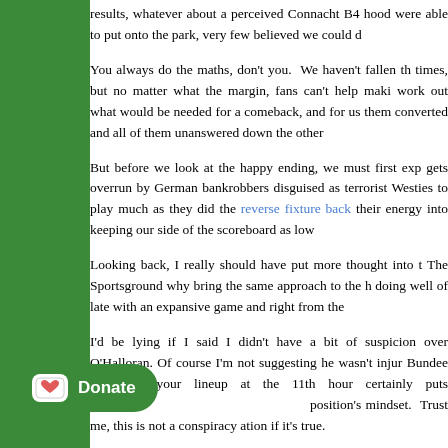results, whatever about a perceived Connacht B4 hood... were able to put onto the park, very few believed we could d
You always do the maths, don't you. We haven't fallen th times, but no matter what the margin, fans can't help maki work out what would be needed for a comeback, and for us them converted and all of them unanswered down the other
But before we look at the happy ending, we must first exp gets overrun by German bankrobbers disguised as terrorist Westies to play much as they did the reverse fixture back their energy into keeping our side of the scoreboard as low
Looking back, I really should have put more thought into t The Sportsground why bring the same approach to the h doing well of late with an expansive game and right from the
I'd be lying if I said I didn't have a bit of suspicion over O'Halloran. Of course I'm not suggesting he wasn't injur Bundee Aki into your lineup at the 11th hour certainly puts position's mindset. Trust me, this is not a conspiracy ation if it's true.
And on pretty much their first opportunity in the 5th minut